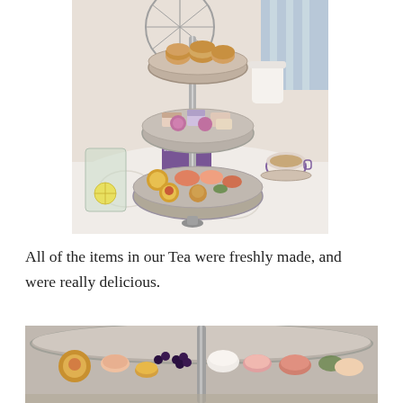[Figure (photo): A three-tiered silver afternoon tea stand loaded with scones on the top tier, sandwiches and pastries on the middle tier, and savory finger foods and small tarts on the bottom tier, set on a white tablecloth with a teacup and glasses visible around it.]
All of the items in our Tea were freshly made, and were really delicious.
[Figure (photo): Close-up of the bottom tier of the silver afternoon tea stand showing various savory finger foods, small tarts, and appetizers with garnishes including blackberries, shellfish, and sliced meats.]